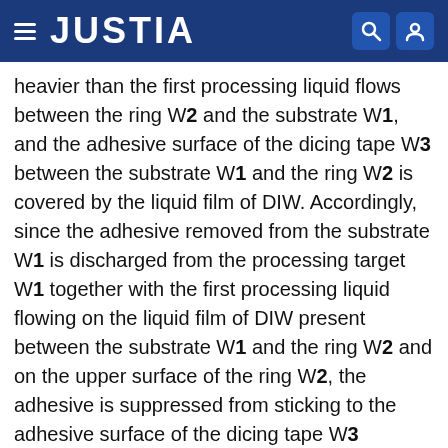JUSTIA
heavier than the first processing liquid flows between the ring W2 and the substrate W1, and the adhesive surface of the dicing tape W3 between the substrate W1 and the ring W2 is covered by the liquid film of DIW. Accordingly, since the adhesive removed from the substrate W1 is discharged from the processing target W1 together with the first processing liquid flowing on the liquid film of DIW present between the substrate W1 and the ring W2 and on the upper surface of the ring W2, the adhesive is suppressed from sticking to the adhesive surface of the dicing tape W3 between the substrate W1 and the ring W2 at that time. Therefore, the adhesive sticking to the adhesive surface of the dicing tape W3 is suppressed from sticking to the substrate W1 from the dicing tape W3 during the post process such as carrying process or the dicing process, so that the contamination of the substrate W1 is